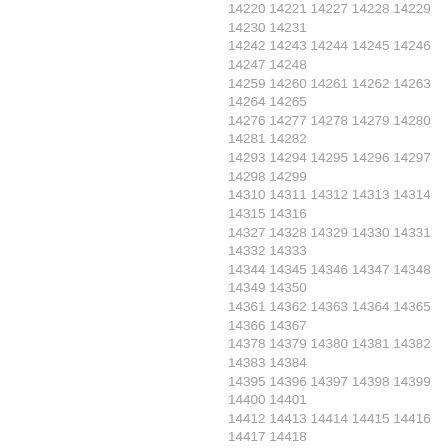14220 14221 14227 14228 14229 14230 14231 14242 14243 14244 14245 14246 14247 14248 14259 14260 14261 14262 14263 14264 14265 14276 14277 14278 14279 14280 14281 14282 14293 14294 14295 14296 14297 14298 14299 14310 14311 14312 14313 14314 14315 14316 14327 14328 14329 14330 14331 14332 14333 14344 14345 14346 14347 14348 14349 14350 14361 14362 14363 14364 14365 14366 14367 14378 14379 14380 14381 14382 14383 14384 14395 14396 14397 14398 14399 14400 14401 14412 14413 14414 14415 14416 14417 14418 14429 14430 14431 14432 14433 14434 14435 14446 14447 14448 14449 14450 14451 14452 14463 14464 14465 14466 14467 14468 14469 14480 14481 14482 14483 14484 14485 14486 14497 14498 14499 14500 14501 14502 14503 14514 14515 14516 14517 14518 14519 14520 14531 14532 14533 14534 14535 14536 14537 14548 14549 14550 14551 14552 14553 14554 14565 14566 14567 14568 14569 14570 14571 14582 14583 14584 14585 14586 14587 14588 14599 14600 14601 14602 14603 14604 14605 14616 14617 14618 14619 14620 14621 14622 14633 14634 14635 14636 14637 14638 14639 14650 14651 14652 14653 14654 14655 14656 14667 14668 14669 14670 14671 14672 14673 14684 14685 14686 14687 14688 14689 14690 14701 14702 14703 14704 14705 14706 14707